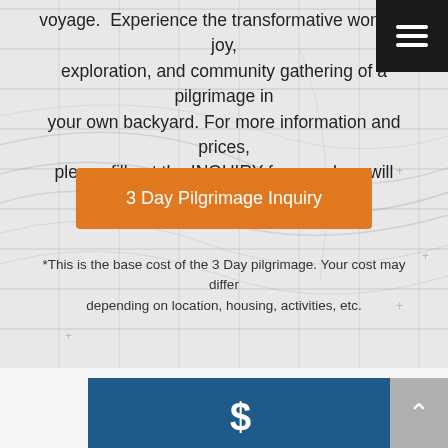voyage. Experience the transformative wonder, joy, exploration, and community gathering of a pilgrimage in your own backyard. For more information and prices, please fill out the INQUIRY form and we will contact you within 48 office hours.
3 Day Pilgrimage Inquiry
*This is the base cost of the 3 Day pilgrimage. Your cost may differ depending on location, housing, activities, etc.